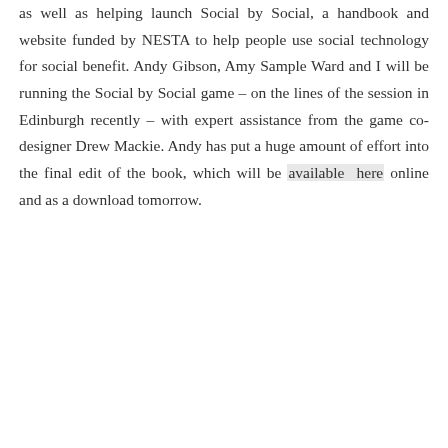as well as helping launch Social by Social, a handbook and website funded by NESTA to help people use social technology for social benefit. Andy Gibson, Amy Sample Ward and I will be running the Social by Social game – on the lines of the session in Edinburgh recently – with expert assistance from the game co-designer Drew Mackie. Andy has put a huge amount of effort into the final edit of the book, which will be available here online and as a download tomorrow.